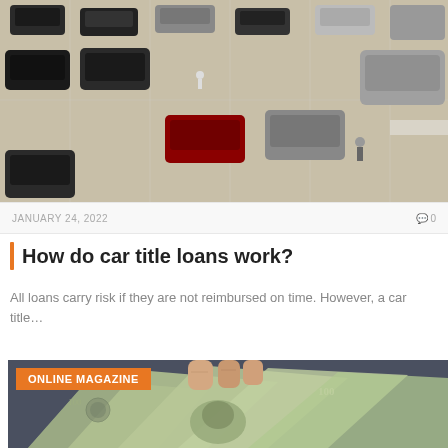[Figure (photo): Aerial view of a car lot with multiple vehicles parked, including dark, red, and silver SUVs and sedans, shot from above.]
JANUARY 24, 2022
0
How do car title loans work?
All loans carry risk if they are not reimbursed on time. However, a car title…
ONLINE MAGAZINE
[Figure (photo): Close-up photo of a person's hand holding a fan of US $100 dollar bills.]